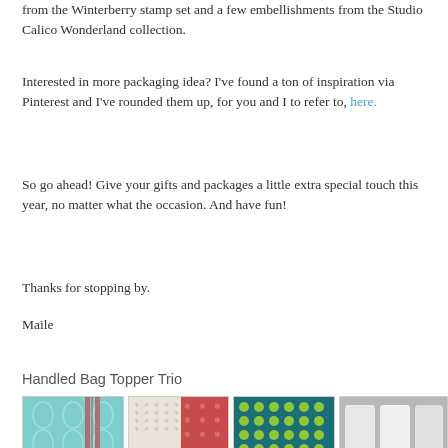from the Winterberry stamp set and a few embellishments from the Studio Calico Wonderland collection.
Interested in more packaging idea?  I've found a ton of inspiration via Pinterest and I've rounded them up, for you and I to refer to, here.
So go ahead! Give your gifts and packages a little extra special touch this year, no matter what the occasion. And have fun!
Thanks for stopping by.
Maile
Handled Bag Topper Trio
[Figure (photo): Four product images showing patterned fabric/paper bag toppers: teal with damask pattern, cream with red snowflake/tree pattern, blue/green polka dot pattern, and white/grey soft material.]